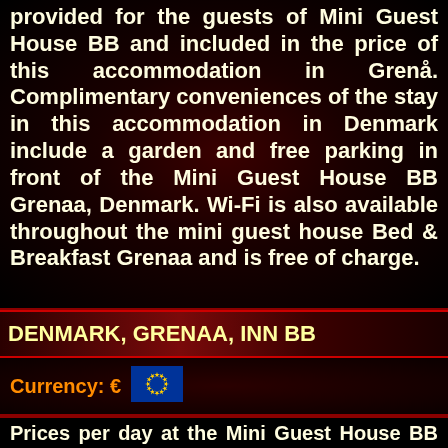provided for the guests of Mini Guest House BB and included in the price of this accommodation in Grenå. Complimentary conveniences of the stay in this accommodation in Denmark include a garden and free parking in front of the Mini Guest House BB Grenaa, Denmark. Wi-Fi is also available throughout the mini guest house Bed & Breakfast Grenaa and is free of charge.
DENMARK, GRENAA, INN BB
Currency: €
[Figure (illustration): EU flag — blue background with a circle of yellow stars]
Prices per day at the Mini Guest House BB Grenaa, Denmark: Single room: 300, - DKK ~ € 40.5.